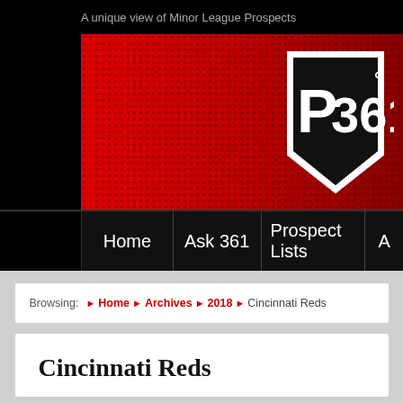A unique view of Minor League Prospects
[Figure (logo): P361 degrees logo — a red pentagon/home plate shape with white border, black interior, white text 'P361' and a degree symbol, on a red halftone background banner]
Home | Ask 361 | Prospect Lists | A
Browsing: › Home › Archives › 2018 › Cincinnati Reds
Cincinnati Reds